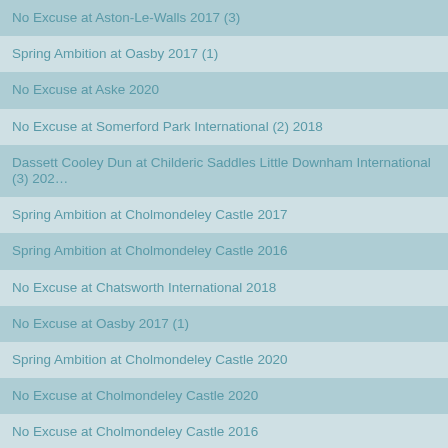No Excuse at Aston-Le-Walls 2017 (3)
Spring Ambition at Oasby 2017 (1)
No Excuse at Aske 2020
No Excuse at Somerford Park International (2) 2018
Dassett Cooley Dun at Childeric Saddles Little Downham International (3) 202…
Spring Ambition at Cholmondeley Castle 2017
Spring Ambition at Cholmondeley Castle 2016
No Excuse at Chatsworth International 2018
No Excuse at Oasby 2017 (1)
Spring Ambition at Cholmondeley Castle 2020
No Excuse at Cholmondeley Castle 2020
No Excuse at Cholmondeley Castle 2016
Cekatinka at Rockingham Castle International 2015
No Excuse at Belton Park International 2017
No Excuse at Rockingham Castle International 2015
Spring Ambition at Belton Park International 2017
Cool Jack at Rockingham Castle International 2015